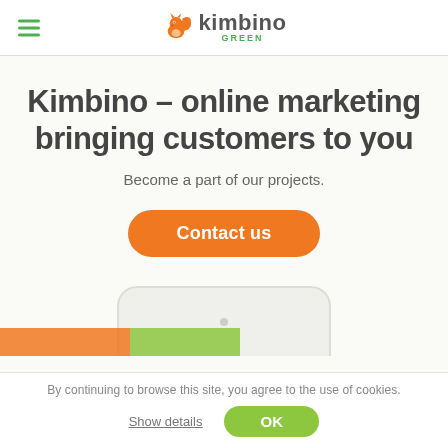kimbino GREEN (logo with squirrel icon and hamburger menu)
Kimbino – online marketing bringing customers to you
Become a part of our projects.
Contact us
[Figure (illustration): Phone/device mockup partially visible at bottom of hero section]
By continuing to browse this site, you agree to the use of cookies.
Show details
OK